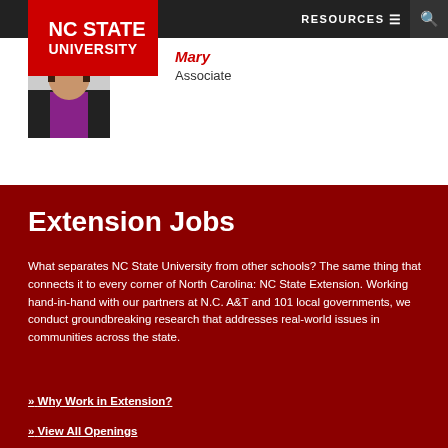NC STATE UNIVERSITY — RESOURCES navigation and search
[Figure (photo): Photo of a woman with dark hair wearing a blazer and purple top]
Mary
Associate
Extension Jobs
What separates NC State University from other schools? The same thing that connects it to every corner of North Carolina: NC State Extension. Working hand-in-hand with our partners at N.C. A&T and 101 local governments, we conduct groundbreaking research that addresses real-world issues in communities across the state.
» Why Work in Extension?
» View All Openings